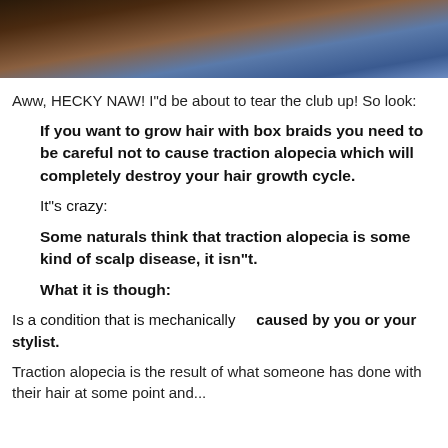[Figure (photo): Photo of people, partially cropped at top of page]
Aww, HECKY NAW! I"d be about to tear the club up! So look:
If you want to grow hair with box braids you need to be careful not to cause traction alopecia which will completely destroy your hair growth cycle.
It"s crazy:
Some naturals think that traction alopecia is some kind of scalp disease, it isn"t.
What it is though:
Is a condition that is mechanically caused by you or your stylist.
Traction alopecia is the result of what someone has done with their hair at some point and...